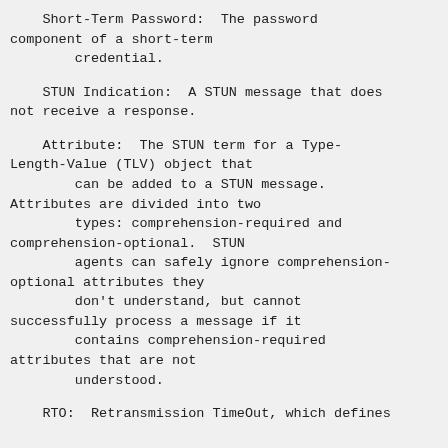Short-Term Password:  The password component of a short-term credential.
STUN Indication:  A STUN message that does not receive a response.
Attribute:  The STUN term for a Type-Length-Value (TLV) object that can be added to a STUN message. Attributes are divided into two types: comprehension-required and comprehension-optional.  STUN agents can safely ignore comprehension-optional attributes they don't understand, but cannot successfully process a message if it contains comprehension-required attributes that are not understood.
RTO:  Retransmission TimeOut, which defines